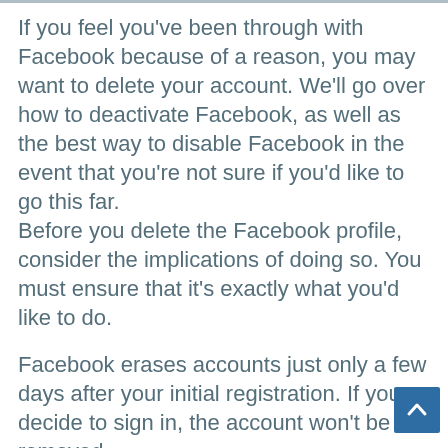If you feel you've been through with Facebook because of a reason, you may want to delete your account. We'll go over how to deactivate Facebook, as well as the best way to disable Facebook in the event that you're not sure if you'd like to go this far.
Before you delete the Facebook profile, consider the implications of doing so. You must ensure that it's exactly what you'd like to do.
Facebook erases accounts just only a few days after your initial registration. If you decide to sign in, the account won't be removed.
After your account has been deleted and you are unable to get it back. It can last up to 90 calendar days prior to the time that all of your stored data is erased off backup storage systems.